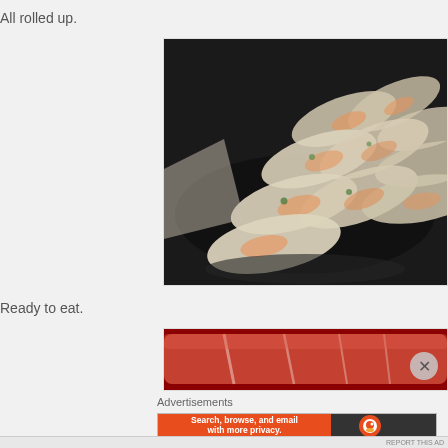All rolled up.
[Figure (photo): Multiple fresh spring rolls wrapped in translucent rice paper, arranged on a dark plate, showing visible fillings of shrimp, vegetables, and herbs.]
Ready to eat.
[Figure (photo): Partial view of a spring roll with reddish-brown filling, partially wrapped in plastic, cropped at bottom of frame.]
Advertisements
[Figure (screenshot): DuckDuckGo advertisement banner: orange left side reads 'Search, browse, and email with more privacy. All in One Free App', dark right side shows DuckDuckGo duck logo and brand name.]